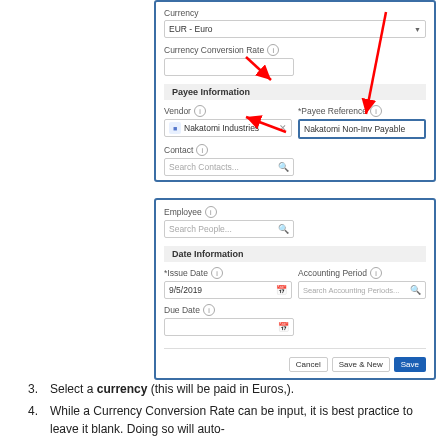[Figure (screenshot): Software UI screenshot showing Currency field (EUR - Euro selected), Currency Conversion Rate field (empty), Payee Information section with Vendor (Nakatomi Industries) and Payee Reference (Nakatomi Non-Inv Payable) fields highlighted with red arrows, and Contact field.]
[Figure (screenshot): Software UI screenshot showing Employee field (Search People...), Date Information section with Issue Date (9/5/2019), Accounting Period (Search Accounting Periods...), Due Date fields, and Cancel / Save & New / Save buttons at bottom.]
Select a currency (this will be paid in Euros,).
While a Currency Conversion Rate can be input, it is best practice to leave it blank. Doing so will auto-